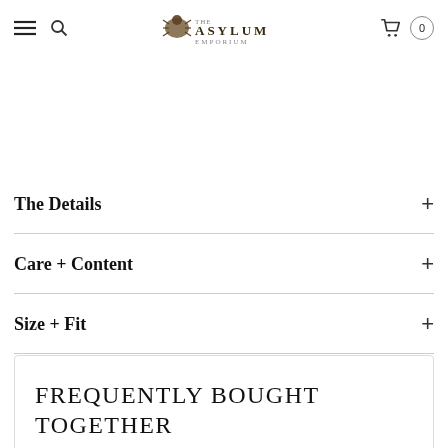Asylum Emporium — navigation header with hamburger, search, logo, cart (0)
The Details +
Care + Content +
Size + Fit +
FREQUENTLY BOUGHT TOGETHER